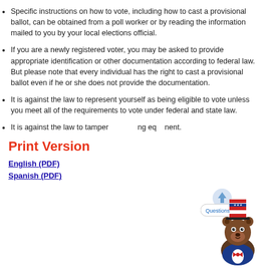Specific instructions on how to vote, including how to cast a provisional ballot, can be obtained from a poll worker or by reading the information mailed to you by your local elections official.
If you are a newly registered voter, you may be asked to provide appropriate identification or other documentation according to federal law. But please note that every individual has the right to cast a provisional ballot even if he or she does not provide the documentation.
It is against the law to represent yourself as being eligible to vote unless you meet all of the requirements to vote under federal and state law.
It is against the law to tamper with voting equipment.
Print Version
English (PDF)
Spanish (PDF)
[Figure (illustration): Cartoon bear mascot wearing a patriotic Uncle Sam hat and blue suit with red bow tie, with a 'Questions?' speech bubble and scroll-up arrow icon]